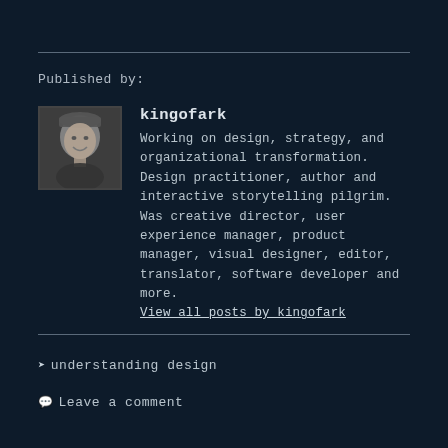Published by:
[Figure (photo): Black and white portrait photo of a person smiling, used as author avatar]
kingofark
Working on design, strategy, and organizational transformation. Design practitioner, author and interactive storytelling pilgrim. Was creative director, user experience manager, product manager, visual designer, editor, translator, software developer and more. View all posts by kingofark
understanding design
Leave a comment